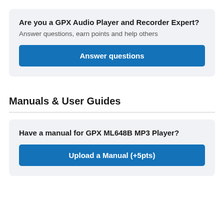Are you a GPX Audio Player and Recorder Expert?
Answer questions, earn points and help others
Answer questions
Manuals & User Guides
Have a manual for GPX ML648B MP3 Player?
Upload a Manual (+5pts)